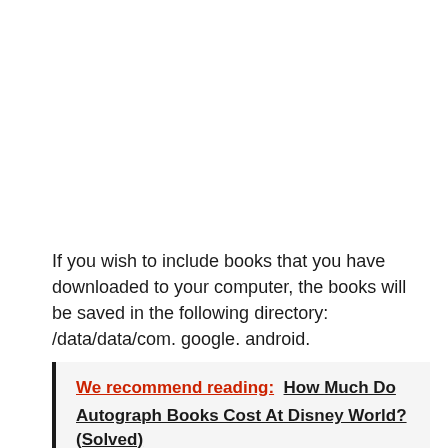If you wish to include books that you have downloaded to your computer, the books will be saved in the following directory: /data/data/com. google. android.
We recommend reading:  How Much Do Autograph Books Cost At Disney World? (Solved)